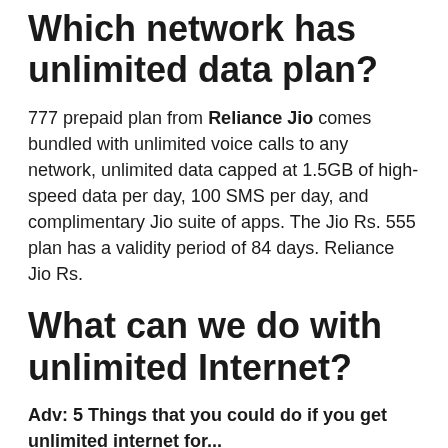Which network has unlimited data plan?
777 prepaid plan from Reliance Jio comes bundled with unlimited voice calls to any network, unlimited data capped at 1.5GB of high-speed data per day, 100 SMS per day, and complimentary Jio suite of apps. The Jio Rs. 555 plan has a validity period of 84 days. Reliance Jio Rs.
What can we do with unlimited Internet?
Adv: 5 Things that you could do if you get unlimited internet for...
Download films by the dozen